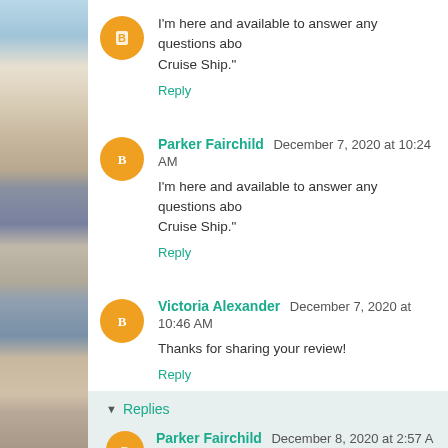I'm here and available to answer any questions abo... Cruise Ship.”
Reply
Parker Fairchild  December 7, 2020 at 10:24 AM
I'm here and available to answer any questions abo... Cruise Ship.”
Reply
Victoria Alexander  December 7, 2020 at 10:46 AM
Thanks for sharing your review!
Reply
Replies
Parker Fairchild  December 8, 2020 at 2:57 A...
Thank you for participating in my blast fo... Ship.”